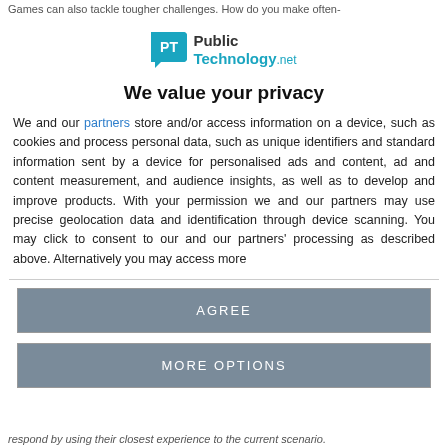Games can also tackle tougher challenges. How do you make often-
[Figure (logo): PublicTechnology.net logo with teal speech bubble icon and bold text]
We value your privacy
We and our partners store and/or access information on a device, such as cookies and process personal data, such as unique identifiers and standard information sent by a device for personalised ads and content, ad and content measurement, and audience insights, as well as to develop and improve products. With your permission we and our partners may use precise geolocation data and identification through device scanning. You may click to consent to our and our partners' processing as described above. Alternatively you may access more
AGREE
MORE OPTIONS
respond by using their closest experience to the current scenario.